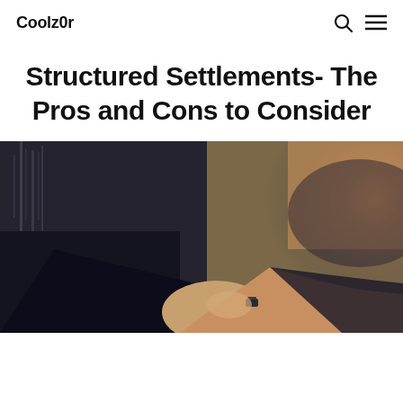Coolz0r
Structured Settlements- The Pros and Cons to Consider
[Figure (photo): Two business people in suits shaking hands, close-up view emphasizing the handshake, warm golden light in background on right side, city buildings visible in background on left.]